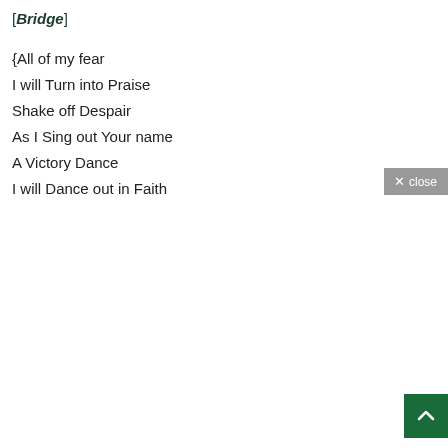[Bridge]
{All of my fear
I will Turn into Praise
Shake off Despair
As I Sing out Your name
A Victory Dance
I will Dance out in Faith